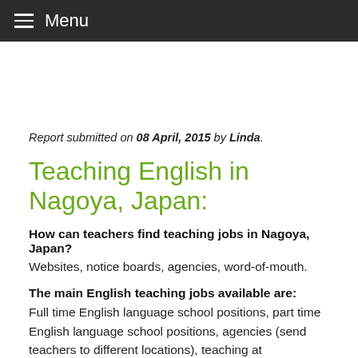Menu
Report submitted on 08 April, 2015 by Linda.
Teaching English in Nagoya, Japan:
How can teachers find teaching jobs in Nagoya, Japan?
Websites, notice boards, agencies, word-of-mouth.
The main English teaching jobs available are:
Full time English language school positions, part time English language school positions, agencies (send teachers to different locations), teaching at kindergartens / pre-schools, teaching at state schools, teaching at private international schools, teaching at colleges /